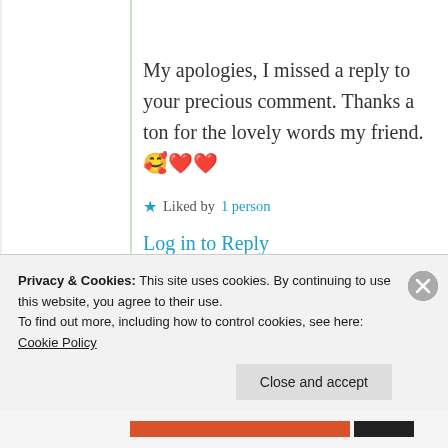My apologies, I missed a reply to your precious comment. Thanks a ton for the lovely words my friend. 🥰❤️❤️
★ Liked by 1 person
Log in to Reply
GraceoftheSun
Privacy & Cookies: This site uses cookies. By continuing to use this website, you agree to their use. To find out more, including how to control cookies, see here: Cookie Policy
Close and accept